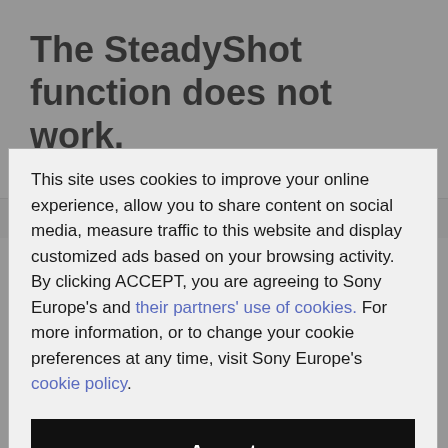The SteadyShot function does not work.
the firmware.
To find out which firmware version you have on your
This site uses cookies to improve your online experience, allow you to share content on social media, measure traffic to this website and display customized ads based on your browsing activity. By clicking ACCEPT, you are agreeing to Sony Europe's and their partners' use of cookies. For more information, or to change your cookie preferences at any time, visit Sony Europe's cookie policy.
Accept
Manage Cookies